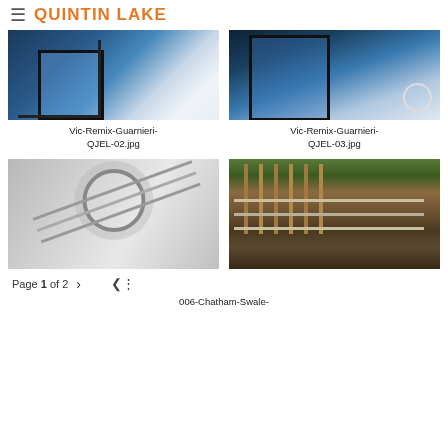QUINTIN LAKE
[Figure (photo): Architectural interior photo showing glass facade with dark frames, blue tones - Vic-Remix-Guarnieri-QJEL-02.jpg]
Vic-Remix-Guarnieri-QJEL-02.jpg
[Figure (photo): Architectural glass facade exterior at night with warm lighting - Vic-Remix-Guarnieri-QJEL-03.jpg]
Vic-Remix-Guarnieri-QJEL-03.jpg
[Figure (photo): Ornate Victorian glass ceiling/skylight with circular architectural details, black and white]
Page 1 of 2
[Figure (photo): Industrial construction photo showing metal rebar/bolt anchors with horizontal rods]
006-Chatham-Swale-